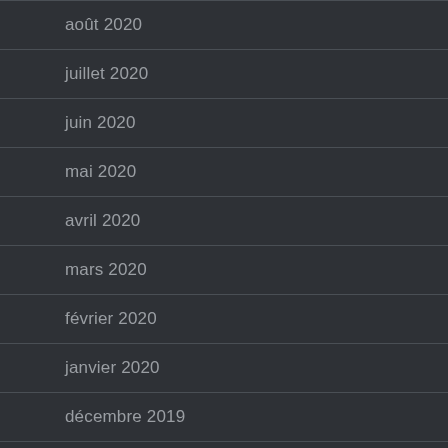août 2020
juillet 2020
juin 2020
mai 2020
avril 2020
mars 2020
février 2020
janvier 2020
décembre 2019
novembre 2019
octobre 2019